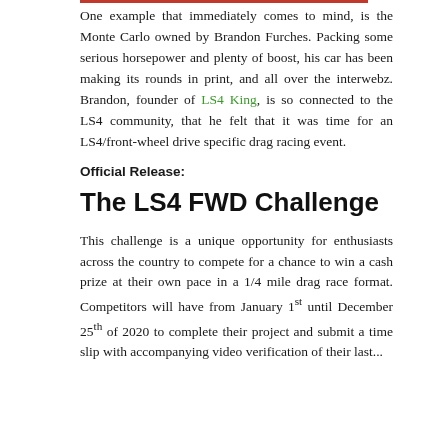One example that immediately comes to mind, is the Monte Carlo owned by Brandon Furches. Packing some serious horsepower and plenty of boost, his car has been making its rounds in print, and all over the interwebz. Brandon, founder of LS4 King, is so connected to the LS4 community, that he felt that it was time for an LS4/front-wheel drive specific drag racing event.
Official Release:
The LS4 FWD Challenge
This challenge is a unique opportunity for enthusiasts across the country to compete for a chance to win a cash prize at their own pace in a 1/4 mile drag race format. Competitors will have from January 1st until December 25th of 2020 to complete their project and submit a time slip with accompanying video verification of their last...